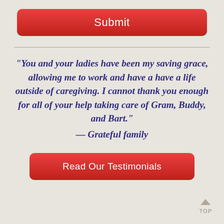[Figure (other): Red rounded rectangle button labeled 'Submit']
“You and your ladies have been my saving grace, allowing me to work and have a have a life outside of caregiving. I cannot thank you enough for all of your help taking care of Gram, Buddy, and Bart.” — Grateful family
[Figure (other): Red rounded rectangle button labeled 'Read Our Testimonials']
[Figure (other): TOP navigation arrow button in bottom right corner]